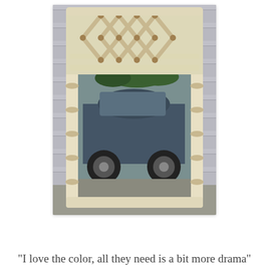[Figure (photo): A tall rectangular mirror with a cream/off-white faux bamboo frame leaning against a gray house siding wall. The frame features a decorative lattice/diamond pattern at the top made of bamboo-style rods. The mirror reflects a dark blue/gray car parked in a driveway and trees in the background.]
"I love the color, all they need is a bit more drama"